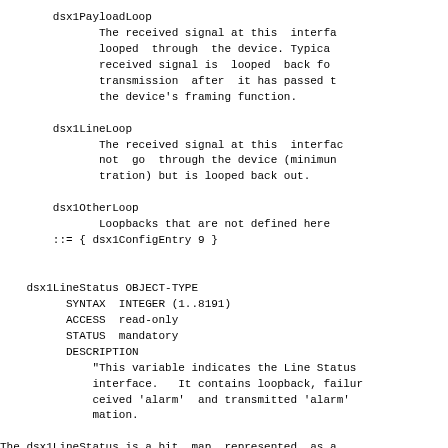dsx1PayloadLoop
        The received signal at this interfa
        looped  through  the device. Typica
        received signal is  looped  back fo
        transmission  after  it has passed t
        the device's framing function.

    dsx1LineLoop
        The received signal at this interfac
        not  go  through the device (minimum
        tration) but is looped back out.

    dsx1OtherLoop
        Loopbacks that are not defined here
    ::= { dsx1ConfigEntry 9 }


  dsx1LineStatus OBJECT-TYPE
      SYNTAX  INTEGER (1..8191)
      ACCESS  read-only
      STATUS  mandatory
      DESCRIPTION
          "This variable indicates the Line Status
          interface.   It contains loopback, failu
          ceived 'alarm'  and transmitted 'alarm'
          mation.

  The dsx1LineStatus is a bit  map  represented  as a
  therefore, it can represent multiple failures (alarm